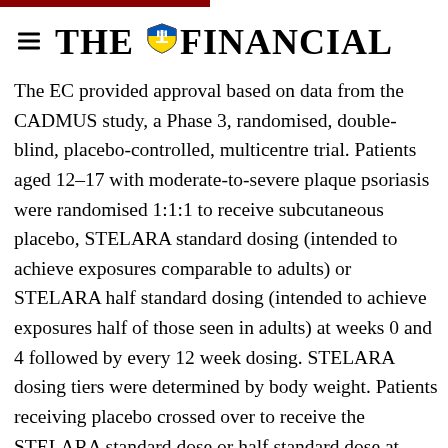THE FINANCIAL
The EC provided approval based on data from the CADMUS study, a Phase 3, randomised, double-blind, placebo-controlled, multicentre trial. Patients aged 12–17 with moderate-to-severe plaque psoriasis were randomised 1:1:1 to receive subcutaneous placebo, STELARA standard dosing (intended to achieve exposures comparable to adults) or STELARA half standard dosing (intended to achieve exposures half of those seen in adults) at weeks 0 and 4 followed by every 12 week dosing. STELARA dosing tiers were determined by body weight. Patients receiving placebo crossed over to receive the STELARA standard dose or half standard dose at weeks 12 and 16; all patients continued with maintenance dosing every 12 weeks